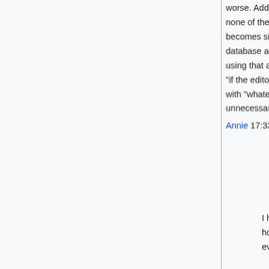worse. Add to this the fact that then the moderator needs to do the same checks (because almost none of the editors will explain why they used that spelling in a moderator note) and the thing just becomes silly. Not to mention just how confusing it is for someone that is just starting. We are a database and databases need to have strict standards. Adding a new field into the author and using that as a "display name" makes a lot more sense than having a standard that is essentially "if the editor finds a reference that the author really do not like dots, don't have dots". Either we go with "whatever is on the book" or we go with "here is our strict standard". Everything else is just unnecessarily confusing and complicating things without adding any value. Annie 17:33, 11 March 2018 (EDT)
I have to disagree with the "without adding value" part--authors have a right to decide how they spell their name, and apparently Steven H Silver managed to convince everyone of that when he posted--but